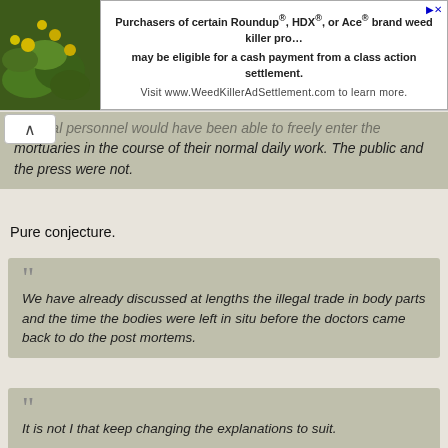[Figure (photo): Advertisement banner with plant/flower photo on left and text about Roundup class action settlement on right]
medical personnel would have been able to freely enter the mortuaries in the course of their normal daily work. The public and the press were not.
Pure conjecture.
We have already discussed at lengths the illegal trade in body parts and the time the bodies were left in situ before the doctors came back to do the post mortems.
And you have failed to show one iota of proof of organ theft in this specific case. It is just speculation on your part.
It is not I that keep changing the explanations to suit.
True, and despite the fact your explanations do not suit, you do not change them. Rather, you change your criterion for what you call unsafe to suit.
I have maintained the same stance throughout, it is you and